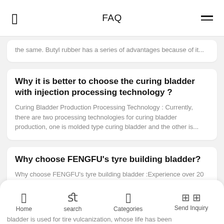FAQ
the same. Butyl rubber has a series of advantages because of it...
Why it is better to choose the curing bladder with injection processing technology ?
Curing Bladder Production Processing Technology : Currently, there are two processing technologies for curing bladder production, one is molded type curing bladder and the other is...
Why choose FENGFU's tyre building bladder?
Why choose FENGFU's tyre building bladder :Experience over 20 years of tyre building bladderHighly reputation engineers working with usFull support for your tyre building process , competitive...
Home  search  Categories  Send Inquiry
bladder is used for tire vulcanization, whose life has been